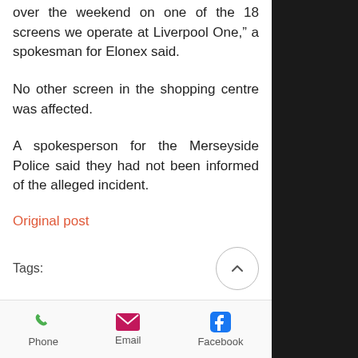over the weekend on one of the 18 screens we operate at Liverpool One,” a spokesman for Elonex said.
No other screen in the shopping centre was affected.
A spokesperson for the Merseyside Police said they had not been informed of the alleged incident.
Original post
Tags:
news   hacking   ibmsecurity   2017   junho
Phone   Email   Facebook